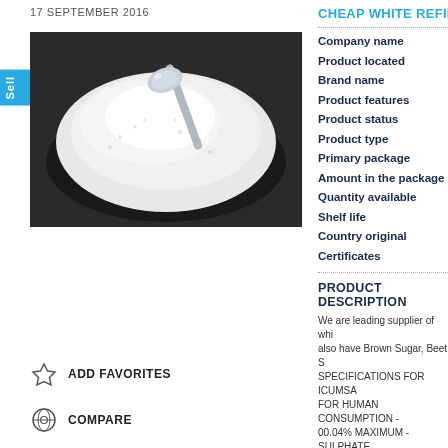17 SEPTEMBER 2016
[Figure (photo): Close-up photo of white refined sugar crystals in a dark bowl with a metal spoon]
ADD FAVORITES
COMPARE
CHEAP WHITE REFINED IC...
| Field | Value |
| --- | --- |
| Company name |  |
| Product located |  |
| Brand name |  |
| Product features |  |
| Product status |  |
| Product type |  |
| Primary package |  |
| Amount in the package |  |
| Quantity available |  |
| Shelf life |  |
| Country original |  |
| Certificates |  |
PRODUCT DESCRIPTION
We are leading supplier of whi... also have Brown Sugar, Beet S... SPECIFICATIONS FOR ICUMSA... FOR HUMAN CONSUMPTION -00.04% MAXIMUM -SULPHATE... FLOWING -RADIATION -NOR...